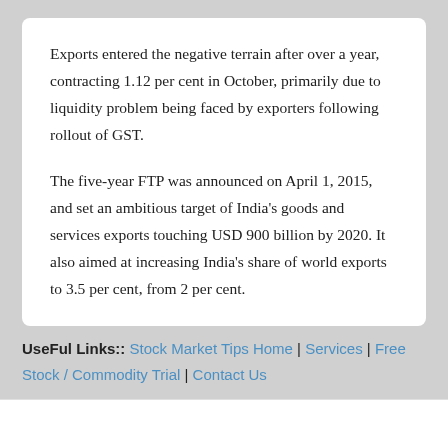Exports entered the negative terrain after over a year, contracting 1.12 per cent in October, primarily due to liquidity problem being faced by exporters following rollout of GST.
The five-year FTP was announced on April 1, 2015, and set an ambitious target of India's goods and services exports touching USD 900 billion by 2020. It also aimed at increasing India's share of world exports to 3.5 per cent, from 2 per cent.
UseFul Links:: Stock Market Tips Home | Services | Free Stock / Commodity Trial | Contact Us